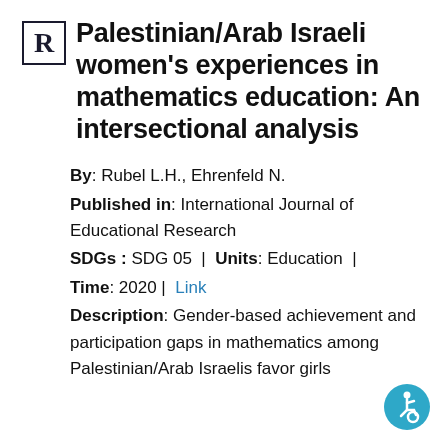Palestinian/Arab Israeli women's experiences in mathematics education: An intersectional analysis
By: Rubel L.H., Ehrenfeld N.
Published in: International Journal of Educational Research
SDGs : SDG 05  |  Units: Education  |
Time: 2020 |  Link
Description: Gender-based achievement and participation gaps in mathematics among Palestinian/Arab Israelis favor girls